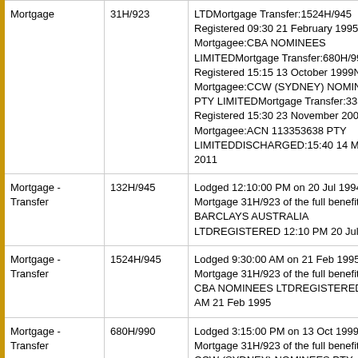| Type | Reference | Details |
| --- | --- | --- |
| Mortgage | 31H/923 | LTDMortgage Transfer:1524H/945 Registered 09:30 21 February 1995New Mortgagee:CBA NOMINEES LIMITEDMortgage Transfer:680H/990 Registered 15:15 13 October 1999New Mortgagee:CCW (SYDNEY) NOMINEES PTY LIMITEDMortgage Transfer:3351990 Registered 15:30 23 November 2009New Mortgagee:ACN 113353638 PTY LIMITEDDISCHARGED:15:40 14 March 2011 |
| Mortgage - Transfer | 132H/945 | Lodged 12:10:00 PM on 20 Jul 1994 for Mortgage 31H/923 of the full benefit to BARCLAYS AUSTRALIA LTDREGISTERED 12:10 PM 20 Jul 1994 |
| Mortgage - Transfer | 1524H/945 | Lodged 9:30:00 AM on 21 Feb 1995 for Mortgage 31H/923 of the full benefit to CBA NOMINEES LTDREGISTERED 9:30 AM 21 Feb 1995 |
| Mortgage - Transfer | 680H/990 | Lodged 3:15:00 PM on 13 Oct 1999 for Mortgage 31H/923 of the full benefit to CCW (SYDNEY) NOMINEES PTY LTDREGISTERED 3:15 PM 13 Oct 1999 |
| Mortgage - Transfer |  | Lodged:15:30 23 November 2009In respect to:Mortgage 31H/923 (164197)From:CCW (SYDNEY) |